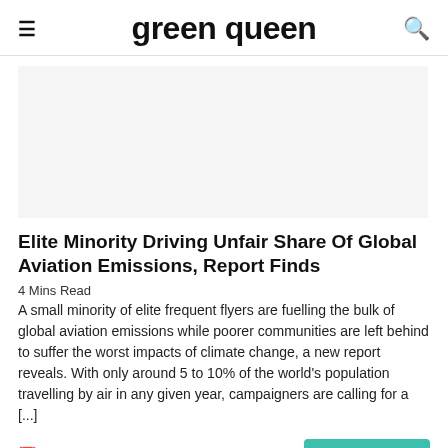green queen
[Figure (photo): Gray placeholder image area for article thumbnail]
Elite Minority Driving Unfair Share Of Global Aviation Emissions, Report Finds
4 Mins Read
A small minority of elite frequent flyers are fuelling the bulk of global aviation emissions while poorer communities are left behind to suffer the worst impacts of climate change, a new report reveals. With only around 5 to 10% of the world's population travelling by air in any given year, campaigners are calling for a [...]
Apr 19, 2021
Read more →